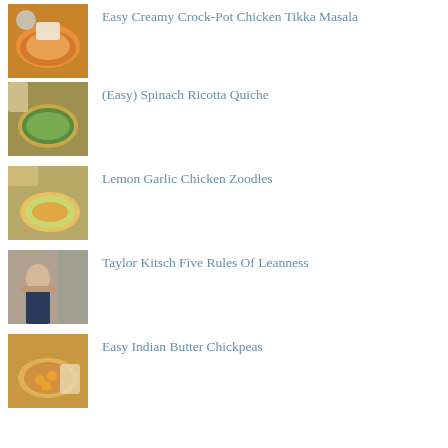Easy Creamy Crock-Pot Chicken Tikka Masala
(Easy) Spinach Ricotta Quiche
Lemon Garlic Chicken Zoodles
Taylor Kitsch Five Rules Of Leanness
Easy Indian Butter Chickpeas